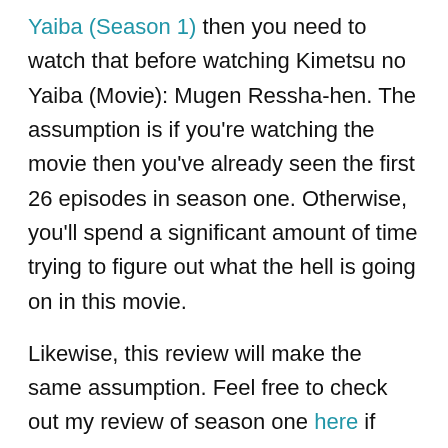Yaiba (Season 1) then you need to watch that before watching Kimetsu no Yaiba (Movie): Mugen Ressha-hen. The assumption is if you're watching the movie then you've already seen the first 26 episodes in season one. Otherwise, you'll spend a significant amount of time trying to figure out what the hell is going on in this movie.
Likewise, this review will make the same assumption. Feel free to check out my review of season one here if you're after background information and the origins of Demon Slayer.
Our story starts with reports coming in of demon activity aboard the 'Mugen Ressha-hen' (translates to 'Infinity Train'). Passengers have